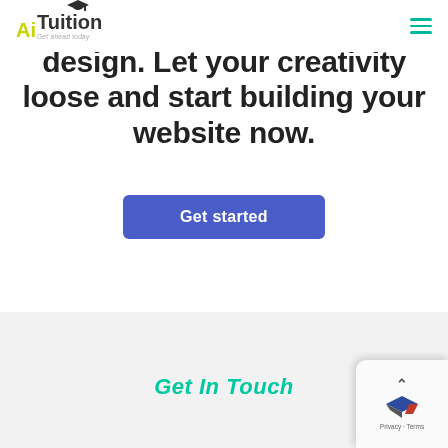AiTuition - Get ahead today
design. Let your creativity loose and start building your website now.
Get started
Get In Touch